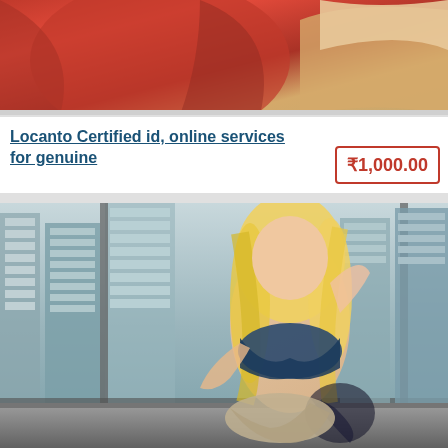[Figure (photo): Partial photo showing red fabric/clothing, cropped at top]
Locanto Certified id, online services for genuine
₹1,000.00
[Figure (photo): Photo of a woman with blonde hair posing in lingerie, city skyline visible through large windows in background, tattoos visible on legs]